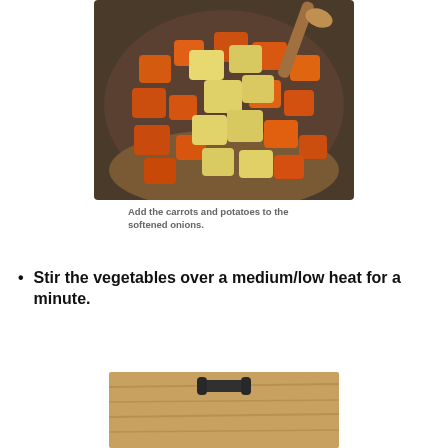[Figure (photo): A pot viewed from above containing chopped orange carrots and pale yellow potato cubes in a cooking pot, with a wooden spoon visible at the top right.]
Add the carrots and potatoes to the softened onions.
Stir the vegetables over a medium/low heat for a minute.
[Figure (photo): A partially visible image showing what appears to be a kitchen tool or grater on a wooden surface.]